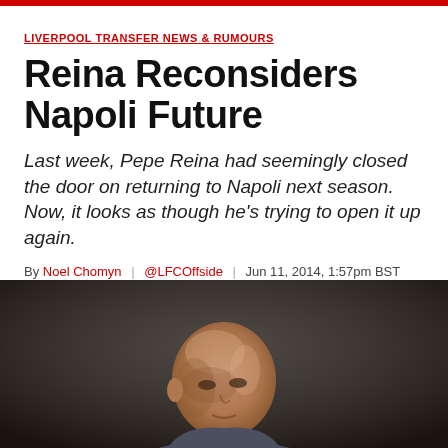LIVERPOOL TRANSFER NEWS & RUMOURS
Reina Reconsiders Napoli Future
Last week, Pepe Reina had seemingly closed the door on returning to Napoli next season. Now, it looks as though he's trying to open it up again.
By Noel Chomyn | @LFCOffside | Jun 11, 2014, 1:57pm BST
[Figure (photo): Close-up photo of a bald man (Pepe Reina) looking forward against a blurred dark background]